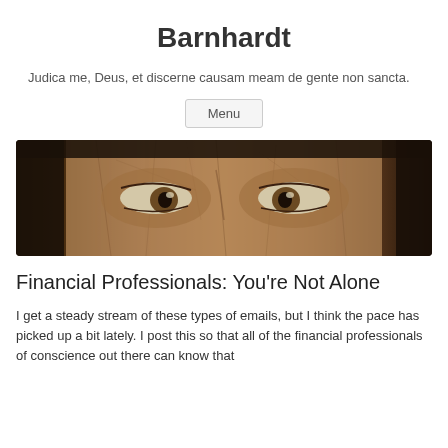Barnhardt
Judica me, Deus, et discerne causam meam de gente non sancta.
Menu
[Figure (photo): Close-up of a painted portrait showing eyes and upper face, cracked paint visible, warm brown tones]
Financial Professionals: You're Not Alone
I get a steady stream of these types of emails, but I think the pace has picked up a bit lately. I post this so that all of the financial professionals of conscience out there can know that